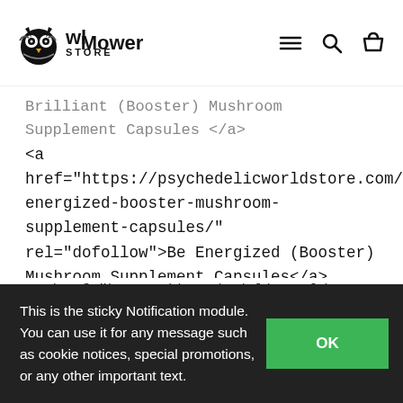Owl Mower Store
Brilliant (Booster) Mushroom Supplement Capsules </a>
<a href="https://psychedelicworldstore.com/product/be-energized-booster-mushroom-supplement-capsules/" rel="dofollow">Be Energized (Booster) Mushroom Supplement Capsules</a>
<a href="https://psychedelicworldstore.com/product/be-yourself-core-microdose-psilocybin-capsules/" rel="dofollow">Be Yourself (Core) Microdose Psilocybin Capsules</a>
<a href="https://psychedelicworldstore.com/product/big-mex-magic-mushrooms/" rel="dofollow">Big Mex Magic Mushrooms</a>
<a href="https://psychedelicworldstore.com/product/blue-meanie-magic-mushrooms/" rel="dofollow">Blue Meanie Magic Mushrooms</a>
<a href="https://psychedelicworldstore.com/product/brazilian-
This is the sticky Notification module. You can use it for any message such as cookie notices, special promotions, or any other important text.